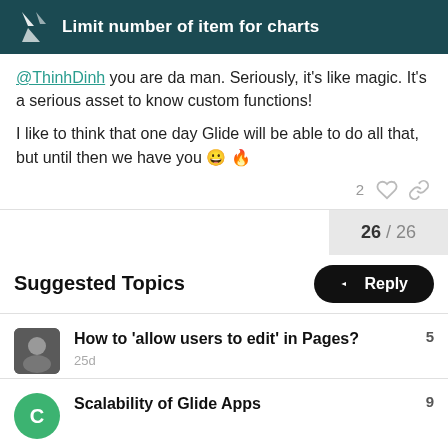Limit number of item for charts
@ThinhDinh you are da man. Seriously, it's like magic. It's a serious asset to know custom functions!
I like to think that one day Glide will be able to do all that, but until then we have you 😀 🔥
2 ♡ 🔗
26 / 26
Suggested Topics
How to 'allow users to edit' in Pages?  5  25d
Scalability of Glide Apps  9